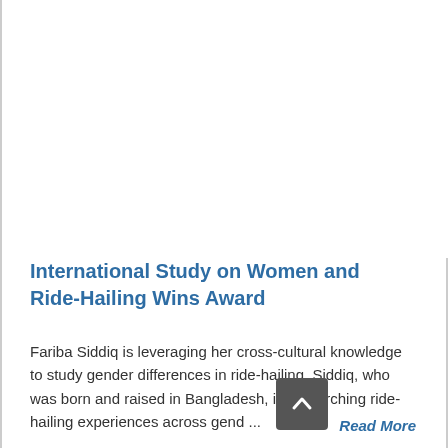International Study on Women and Ride-Hailing Wins Award
Fariba Siddiq is leveraging her cross-cultural knowledge to study gender differences in ride-hailing. Siddiq, who was born and raised in Bangladesh, is researching ride-hailing experiences across gend ...
Read More